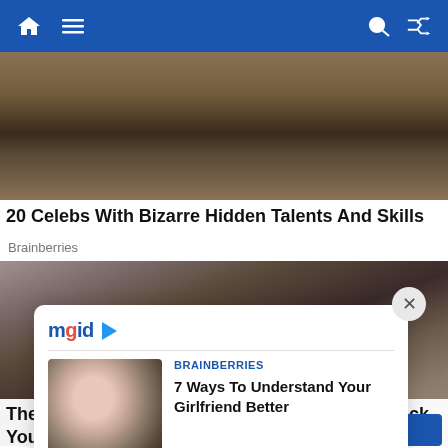Navigation bar with home, menu, search, and shuffle icons
[Figure (photo): Photo of people in a room with furniture, dark clothing, viewed from a dramatic angle]
20 Celebs With Bizarre Hidden Talents And Skills
Brainberries
[Figure (photo): Close-up photo of top of a person's head with brown hair on blue-grey background]
[Figure (screenshot): MGID ad popup with article: BRAINBERRIES - 7 Ways To Understand Your Girlfriend Better, with couple hugging thumbnail]
These Maisie Williams Facts Are Bound To Shock You